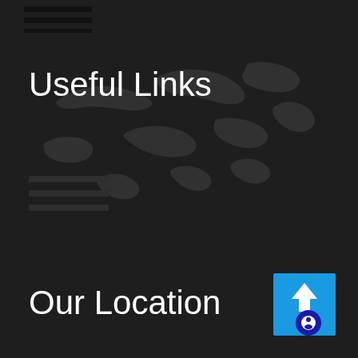[Figure (screenshot): Dark website interface with world map background overlay showing navigation sections]
Useful Links
[Figure (other): Hamburger menu icon (three horizontal lines)]
Our Location
[Figure (other): Blue scroll-to-top button with arrow and circular icon in bottom right corner]